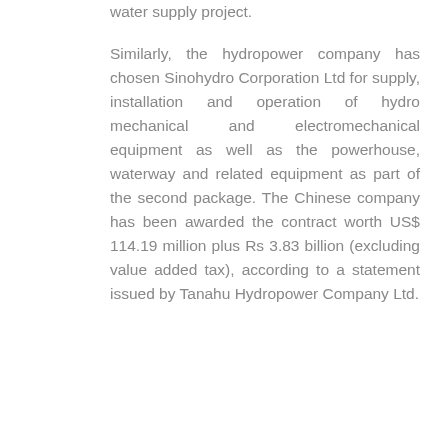water supply project.
Similarly, the hydropower company has chosen Sinohydro Corporation Ltd for supply, installation and operation of hydro mechanical and electromechanical equipment as well as the powerhouse, waterway and related equipment as part of the second package. The Chinese company has been awarded the contract worth US$ 114.19 million plus Rs 3.83 billion (excluding value added tax), according to a statement issued by Tanahu Hydropower Company Ltd.